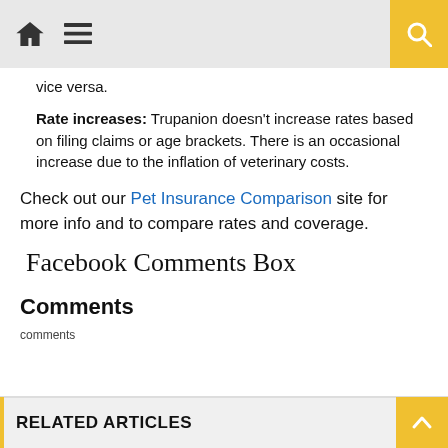Navigation bar with home icon, menu icon, and search button
vice versa.
Rate increases: Trupanion doesn't increase rates based on filing claims or age brackets. There is an occasional increase due to the inflation of veterinary costs.
Check out our Pet Insurance Comparison site for more info and to compare rates and coverage.
Facebook Comments Box
Comments
comments
RELATED ARTICLES